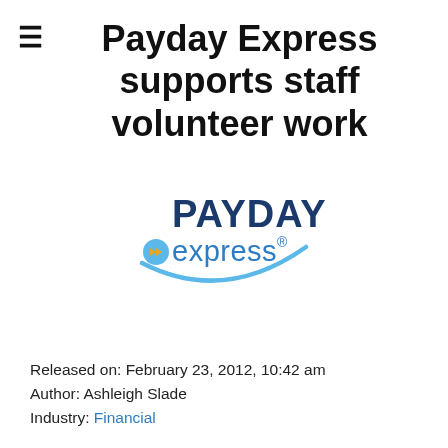Payday Express supports staff volunteer work
[Figure (logo): Payday Express logo: 'PAYDAY' in dark blue bold uppercase letters with 'express' in blue lowercase with a forward-arrow icon, enclosed in a blue swoosh arc]
Released on: February 23, 2012, 10:42 am
Author: Ashleigh Slade
Industry: Financial